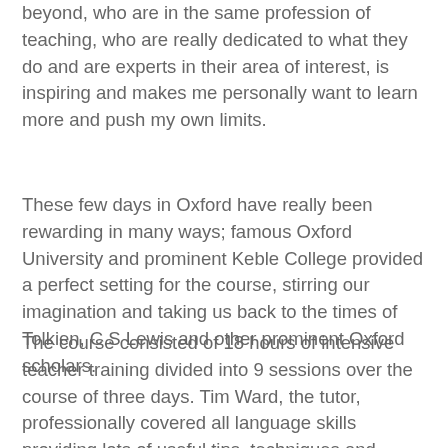beyond, who are in the same profession of teaching, who are really dedicated to what they do and are experts in their area of interest, is inspiring and makes me personally want to learn more and push my own limits.
These few days in Oxford have really been rewarding in many ways; famous Oxford University and prominent Keble College provided a perfect setting for the course, stirring our imagination and taking us back to the times of Tolkien, C.S Lewis and other prominent Oxford scholars.
The course consisted of 18 hours of intensive teacher training divided into 9 sessions over the course of three days. Tim Ward, the tutor, professionally covered all language skills providing lots of useful tips, techniques and ready-to-use activities to make our teaching more efficient, varied and fun. Personally, I admired his calm, friendly, and engaging attitude. At the end of each day there was some time left for reflection, going through our notes and handouts, summing it all up, which have proved to be very